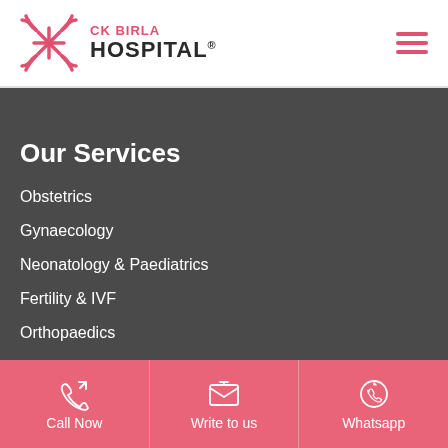[Figure (logo): CK Birla Hospital logo with decorative cross/star symbol in pink, with text 'CK BIRLA' in pink and 'HOSPITAL®' in dark]
Our Services
Obstetrics
Gynaecology
Neonatology & Paediatrics
Fertility & IVF
Orthopaedics
Call Now
Write to us
Whatsapp